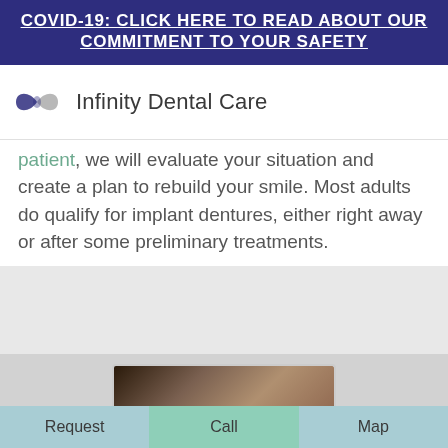COVID-19: CLICK HERE TO READ ABOUT OUR COMMITMENT TO YOUR SAFETY
[Figure (logo): Infinity Dental Care logo with stylized infinity symbol in blue and gray]
patient, we will evaluate your situation and create a plan to rebuild your smile. Most adults do qualify for implant dentures, either right away or after some preliminary treatments.
[Figure (photo): Partially visible dental office interior photo]
Request | Call | Map